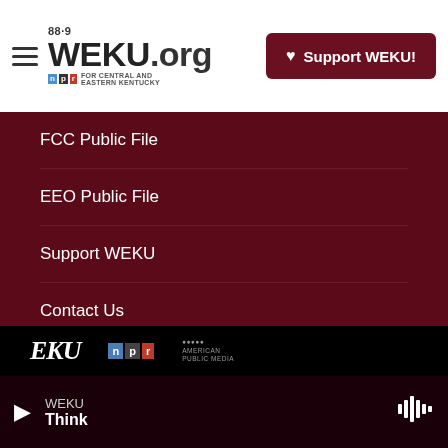88.9 WEKU.org | NPR for Central and Eastern Kentucky | Support WEKU!
FCC Public File
EEO Public File
Support WEKU
Contact Us
DMCA Contact Information
FCC Applications
EKU | npr | American Public Media | WEKU | Think